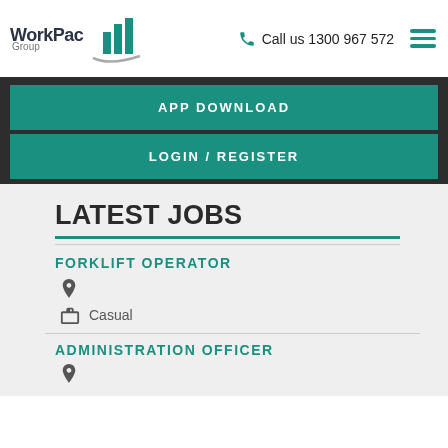[Figure (logo): WorkPac Group logo with teal building/bar chart icon and swoosh]
Call us 1300 967 572
APP DOWNLOAD
LOGIN / REGISTER
LATEST JOBS
FORKLIFT OPERATOR
Casual
ADMINISTRATION OFFICER